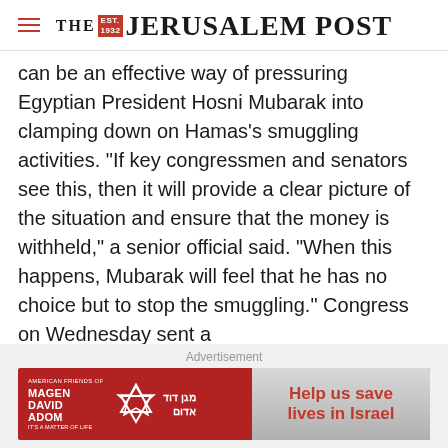THE JERUSALEM POST
can be an effective way of pressuring Egyptian President Hosni Mubarak into clamping down on Hamas's smuggling activities. "If key congressmen and senators see this, then it will provide a clear picture of the situation and ensure that the money is withheld," a senior official said. "When this happens, Mubarak will feel that he has no choice but to stop the smuggling." Congress on Wednesday sent a
Advertisement
[Figure (infographic): Magen David Adom advertisement banner with red background, Star of David logo, Hebrew text, and button saying 'Help us save lives in Israel']